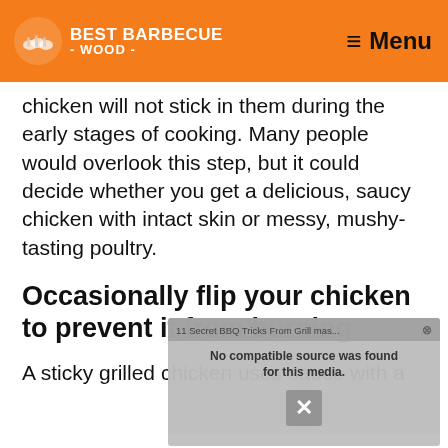BEST BARBECUE WOOD - Menu
chicken will not stick in them during the early stages of cooking. Many people would overlook this step, but it could decide whether you get a delicious, saucy chicken with intact skin or messy, mushy-tasting poultry.
Occasionally flip your chicken to prevent it from burning
A sticky grilled chicken uses sauce with a
[Figure (screenshot): Video overlay showing '11 Secret BBQ Tricks From Grill mas...' with 'No compatible source was found for this media.' error message and an X close button]